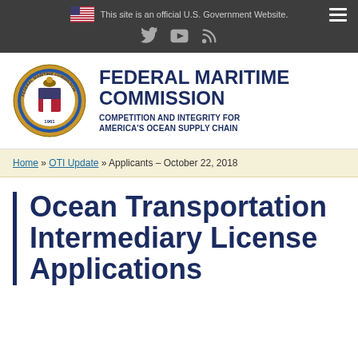This site is an official U.S. Government Website.
[Figure (logo): Federal Maritime Commission official seal/logo]
FEDERAL MARITIME COMMISSION
COMPETITION AND INTEGRITY FOR AMERICA'S OCEAN SUPPLY CHAIN
Home » OTI Update » Applicants – October 22, 2018
Ocean Transportation Intermediary License Applications